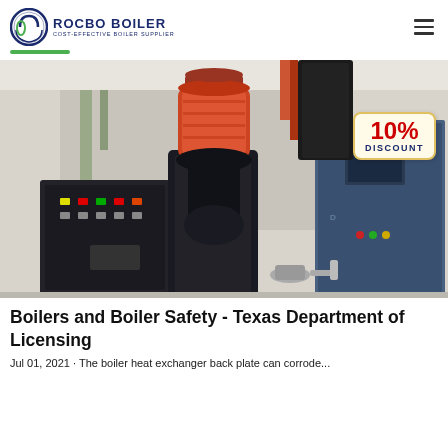ROCBO BOILER - COST-EFFECTIVE BOILER SUPPLIER
[Figure (photo): Industrial boiler equipment in a facility, showing a red cylindrical component on top, black burner assembly, control panel on the left, and blue steel cabinet on the right. A '10% DISCOUNT' badge is overlaid in the top right corner of the image.]
Boilers and Boiler Safety - Texas Department of Licensing
Jul 01, 2021 · The boiler heat exchanger back plate can corrode...